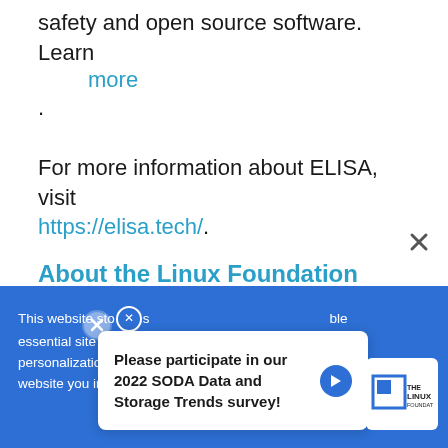safety and open source software. Learn more.
For more information about ELISA, visit https://elisa.tech/.
About the Linux Foundation
Founded in 2000, the Linux Foundation and its projects are supported by more than 2,950 members. The Linux Foundation is the
This website stores cookies to enable essential site functionality, personalization, and analytics. By using this website you indicate your consent.
Please participate in our 2022 SODA Data and Storage Trends survey!